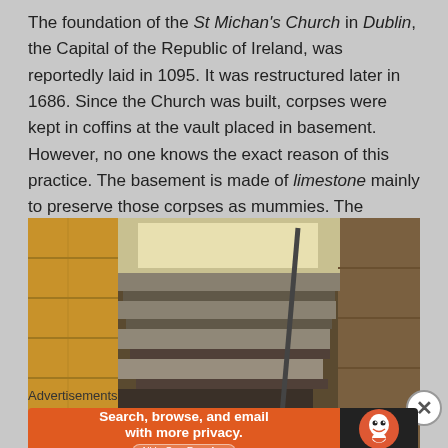The foundation of the St Michan's Church in Dublin, the Capital of the Republic of Ireland, was reportedly laid in 1095. It was restructured later in 1686. Since the Church was built, corpses were kept in coffins at the vault placed in basement. However, no one knows the exact reason of this practice. The basement is made of limestone mainly to preserve those corpses as mummies. The limestone helps keep inside the vault dry.
[Figure (photo): Stone staircase descending into a dark vault, with rough limestone walls on either side, a metal handrail visible, and an iron chain at the bottom.]
Advertisements
[Figure (other): DuckDuckGo advertisement banner: orange left side reading 'Search, browse, and email with more privacy. All in One Free App', black right side with DuckDuckGo duck logo and text.]